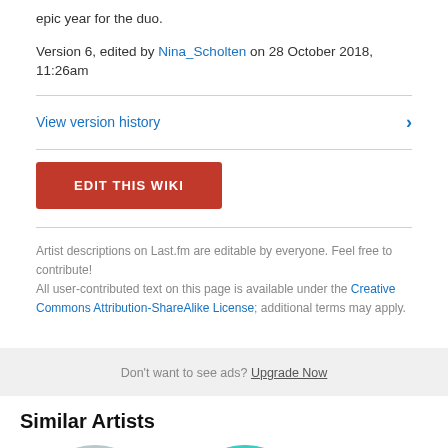epic year for the duo.
Version 6, edited by Nina_Scholten on 28 October 2018, 11:26am
View version history
EDIT THIS WIKI
Artist descriptions on Last.fm are editable by everyone. Feel free to contribute! All user-contributed text on this page is available under the Creative Commons Attribution-ShareAlike License; additional terms may apply.
Don't want to see ads? Upgrade Now
Similar Artists
[Figure (photo): Circular portrait photo of an artist wearing glasses, in greyscale/muted tones]
[Figure (photo): Circular portrait photo of an artist with spiky hair, in teal/blue tones]